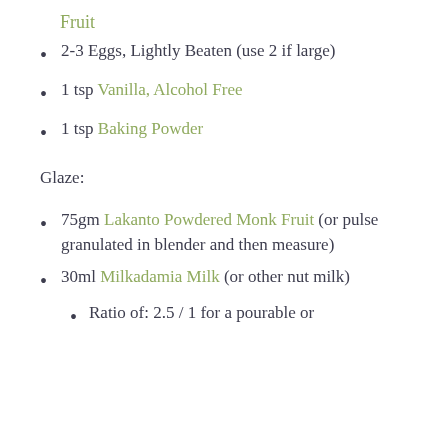Fruit
2-3 Eggs, Lightly Beaten (use 2 if large)
1 tsp Vanilla, Alcohol Free
1 tsp Baking Powder
Glaze:
75gm Lakanto Powdered Monk Fruit (or pulse granulated in blender and then measure)
30ml Milkadamia Milk (or other nut milk)
Ratio of:  2.5 / 1 for a pourable or